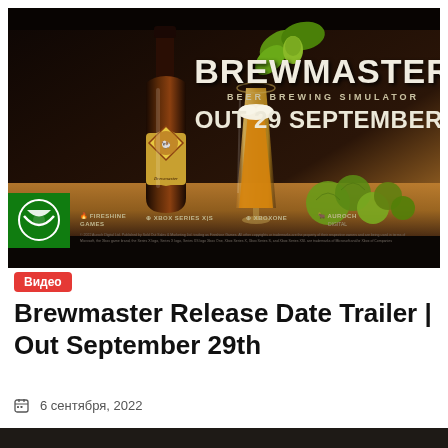[Figure (screenshot): Brewmaster Beer Brewing Simulator promotional thumbnail showing a dark background with a beer bottle labeled Brewmaster, a glass of amber beer, hop cones, green hop leaves, and text reading BREWMASTER BEER BREWING SIMULATOR OUT 29 SEPTEMBER! with Xbox Series X|S, Xbox One, Fireshine Games, and Auroch Digital logos at the bottom, plus an Xbox badge in the lower left corner.]
Видео
Brewmaster Release Date Trailer | Out September 29th
6 сентября, 2022